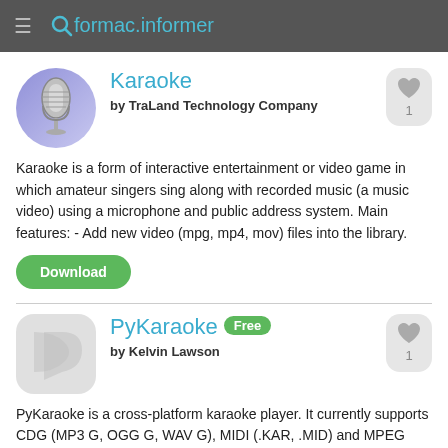formac.informer
Karaoke
by TraLand Technology Company
Karaoke is a form of interactive entertainment or video game in which amateur singers sing along with recorded music (a music video) using a microphone and public address system. Main features: - Add new video (mpg, mp4, mov) files into the library.
Download
PyKaraoke
by Kelvin Lawson
PyKaraoke is a cross-platform karaoke player. It currently supports CDG (MP3 G, OGG G, WAV G), MIDI (.KAR, .MID) and MPEG formats.